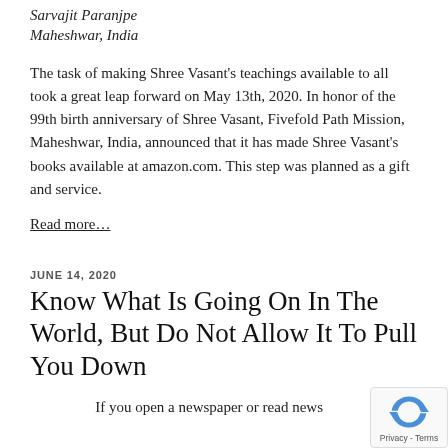Sarvajit Paranjpe
Maheshwar, India
The task of making Shree Vasant's teachings available to all took a great leap forward on May 13th, 2020. In honor of the 99th birth anniversary of Shree Vasant, Fivefold Path Mission, Maheshwar, India, announced that it has made Shree Vasant's books available at amazon.com. This step was planned as a gift and service.
Read more…
JUNE 14, 2020
Know What Is Going On In The World, But Do Not Allow It To Pull You Down
If you open a newspaper or read news